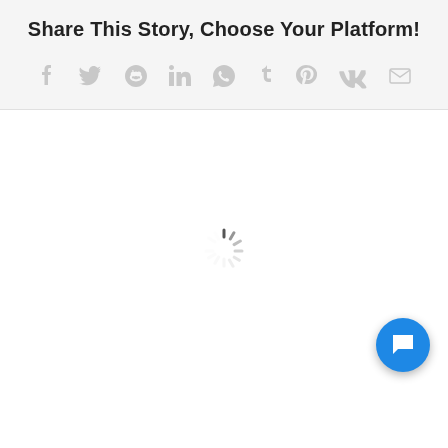Share This Story, Choose Your Platform!
[Figure (other): Social media sharing icons: Facebook, Twitter, Reddit, LinkedIn, WhatsApp, Tumblr, Pinterest, VK, Email]
[Figure (other): Loading spinner (circular dashed animation indicator) in center of white area]
[Figure (other): Blue circular chat/support button in bottom-right corner with speech bubble icon]